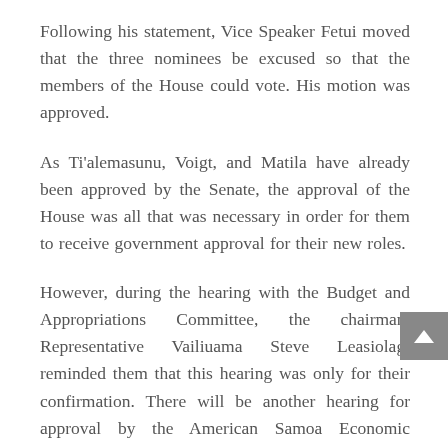Following his statement, Vice Speaker Fetui moved that the three nominees be excused so that the members of the House could vote. His motion was approved.
As Ti'alemasunu, Voigt, and Matila have already been approved by the Senate, the approval of the House was all that was necessary in order for them to receive government approval for their new roles.
However, during the hearing with the Budget and Appropriations Committee, the chairman, Representative Vailiuama Steve Leasiolagi reminded them that this hearing was only for their confirmation. There will be another hearing for approval by the American Samoa Economic Development Authority Board in the future. The approval of the board is necessary for the nominees to assume their roles and begin to help the economy of American Samoa by